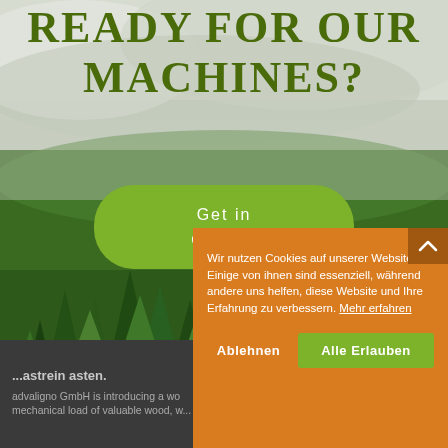[Figure (photo): Misty green forest of tall conifer trees with clouds/fog drifting through, serving as full-page background image]
Ready for our machines?
Get in contact
Wir nutzen Cookies auf unserer Website. Einige von ihnen sind essenziell, während andere uns helfen, diese Website und Ihre Erfahrung zu verbessern. Mehr erfahren
Ablehnen
Alle Erlauben
...astrein asten.
advaligno GmbH is introducing a wo... mechanical load of valuable wood, w...